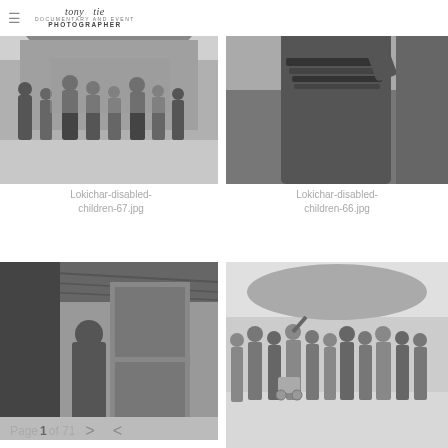≡ [logo: Documentary and Event Photographer signature]
[Figure (photo): Black and white photo of a group of children and adults standing outside a thatched-roof hut in Lokichar]
[Figure (photo): Black and white photo of a woman with traditional beaded necklaces near thatched roof in Lokichar]
Lokichar-disabled-children-67.jpg
Lokichar-disabled-children-66.jpg
[Figure (photo): Black and white photo of a child standing in a doorway of a structure with thatched roof in Lokichar]
[Figure (photo): Black and white photo of a large group of children standing outdoors in Lokichar, some with assistive devices]
Page 1 of 71  >  <share icon>